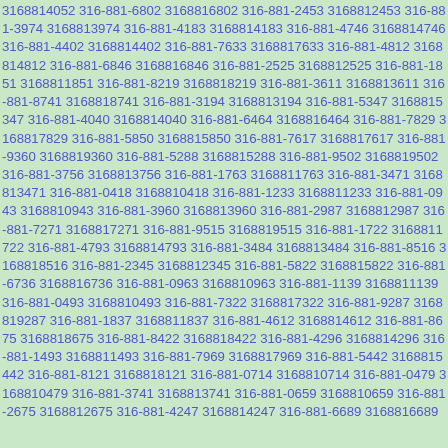3168814052 316-881-6802 3168816802 316-881-2453 3168812453 316-881-3974 3168813974 316-881-4183 3168814183 316-881-4746 3168814746 316-881-4402 3168814402 316-881-7633 3168817633 316-881-4812 3168814812 316-881-6846 3168816846 316-881-2525 3168812525 316-881-1851 3168811851 316-881-8219 3168818219 316-881-3611 3168813611 316-881-8741 3168818741 316-881-3194 3168813194 316-881-5347 3168815347 316-881-4040 3168814040 316-881-6464 3168816464 316-881-7829 3168817829 316-881-5850 3168815850 316-881-7617 3168817617 316-881-9360 3168819360 316-881-5288 3168815288 316-881-9502 3168819502 316-881-3756 3168813756 316-881-1763 3168811763 316-881-3471 3168813471 316-881-0418 3168810418 316-881-1233 3168811233 316-881-0943 3168810943 316-881-3960 3168813960 316-881-2987 3168812987 316-881-7271 3168817271 316-881-9515 3168819515 316-881-1722 3168811722 316-881-4793 3168814793 316-881-3484 3168813484 316-881-8516 3168818516 316-881-2345 3168812345 316-881-5822 3168815822 316-881-6736 3168816736 316-881-0963 3168810963 316-881-1139 3168811139 316-881-0493 3168810493 316-881-7322 3168817322 316-881-9287 3168819287 316-881-1837 3168811837 316-881-4612 3168814612 316-881-8675 3168818675 316-881-8422 3168818422 316-881-4296 3168814296 316-881-1493 3168811493 316-881-7969 3168817969 316-881-5442 3168815442 316-881-8121 3168818121 316-881-0714 3168810714 316-881-0479 3168810479 316-881-3741 3168813741 316-881-0659 3168810659 316-881-2675 3168812675 316-881-4247 3168814247 316-881-6689 3168816689